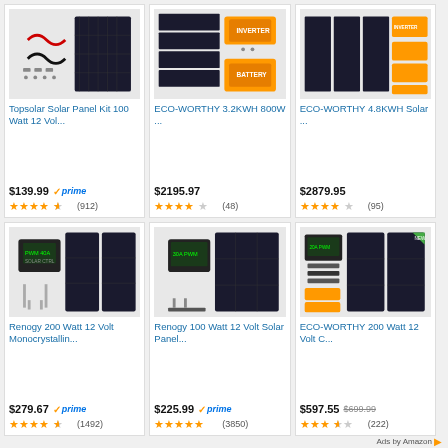[Figure (screenshot): Amazon product listing grid showing 6 solar panel kit products in 2 rows of 3]
Topsolar Solar Panel Kit 100 Watt 12 Vol...
$139.99 prime
(912) 4.5 stars
ECO-WORTHY 3.2KWH 800W ...
$2195.97
(48) 4 stars
ECO-WORTHY 4.8KWH Solar ...
$2879.95
(95) 4 stars
Renogy 200 Watt 12 Volt Monocrystallin...
$279.67 prime
(1492) 4.5 stars
Renogy 100 Watt 12 Volt Solar Panel...
$225.99 prime
(3850) 5 stars
ECO-WORTHY 200 Watt 12 Volt C...
$597.55 $699.99
(222) 3.5 stars
Ads by Amazon